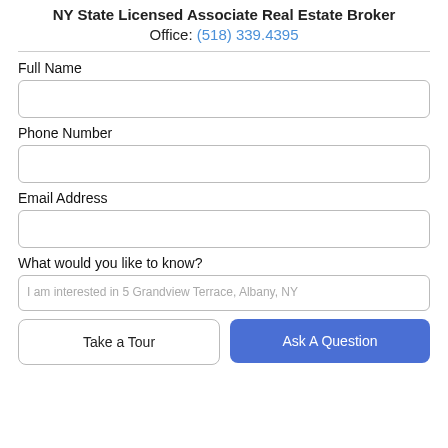NY State Licensed Associate Real Estate Broker
Office: (518) 339.4395
Full Name
Phone Number
Email Address
What would you like to know?
I am interested in 5 Grandview Terrace, Albany, NY
Take a Tour
Ask A Question